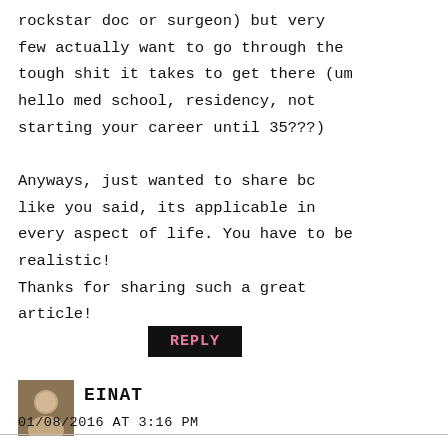rockstar doc or surgeon) but very few actually want to go through the tough shit it takes to get there (um hello med school, residency, not starting your career until 35???)

Anyways, just wanted to share bc like you said, its applicable in every aspect of life. You have to be realistic!
Thanks for sharing such a great article!
REPLY
EINAT
01/08/2016 AT 3:16 PM